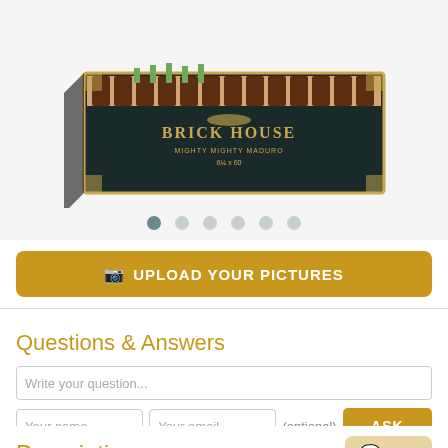[Figure (photo): Open box of Brick House Mighty Mighty Maduro cigars, showing dark cigars arranged neatly in a black and gold decorative box with cedar lining]
● ○ ○ ○ ○ ○ (image carousel dots)
📷 UPLOAD YOUR PICTURES
Questions & Answers
Write your question...
Your name | Your email | (optional) | ASK
Description
Chat